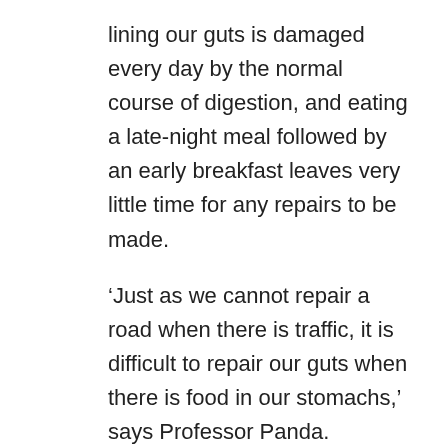lining our guts is damaged every day by the normal course of digestion, and eating a late-night meal followed by an early breakfast leaves very little time for any repairs to be made.
‘Just as we cannot repair a road when there is traffic, it is difficult to repair our guts when there is food in our stomachs,’ says Professor Panda.
Eventually, the barrier between the inside of the gut and the rest of the body can become ‘leaky’,